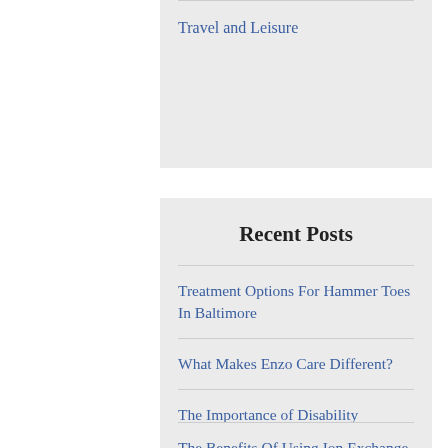Travel and Leisure
Recent Posts
Treatment Options For Hammer Toes In Baltimore
What Makes Enzo Care Different?
The Importance of Disability Insurance for Your Business
The Benefits Of Using Ion Exchange Resins